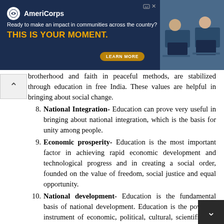[Figure (other): AmeriCorps advertisement banner with dark navy background, logo, text 'Ready to make an impact in communities across the country? THIS IS YOUR MOMENT.' with LEARN MORE button and photo of people at computers]
brotherhood and faith in peaceful methods, are stabilized through education in free India. These values are helpful in bringing about social change.
8. National Integration- Education can prove very useful in bringing about national integration, which is the basis for unity among people.
9. Economic prosperity- Education is the most important factor in achieving rapid economic development and technological progress and in creating a social order, founded on the value of freedom, social justice and equal opportunity.
10. National development- Education is the fundamental basis of national development. Education is the powerful instrument of economic, political, cultural, scientific and social change.
11. Leadership in social change- Raja Ram Mohan Roy, Swami Dayanand Saraswati, Swami Vivekananda, Mahatma Gandhi ...